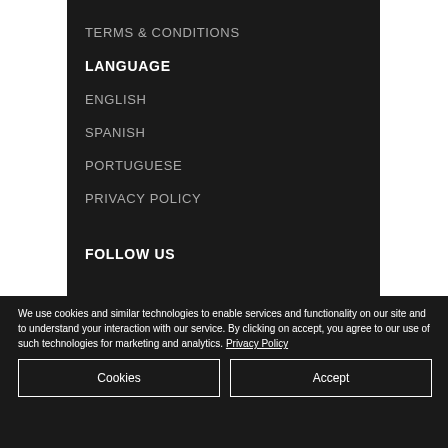TERMS & CONDITIONS
LANGUAGE
ENGLISH
SPANISH
PORTUGUESE
PRIVACY POLICY
FOLLOW US
We use cookies and similar technologies to enable services and functionality on our site and to understand your interaction with our service. By clicking on accept, you agree to our use of such technologies for marketing and analytics. Privacy Policy
Cookies
Accept